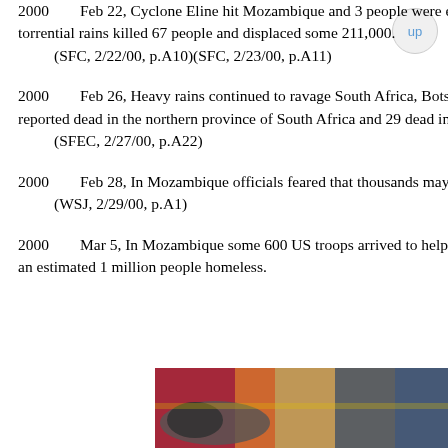2000    Feb 22, Cyclone Eline hit Mozambique and 3 people were electrocuted in Beira from fallen power cables. Earlier torrential rains killed 67 people and displaced some 211,000.
    (SFC, 2/22/00, p.A10)(SFC, 2/23/00, p.A11)
2000    Feb 26, Heavy rains continued to ravage South Africa, Botswana, Mozambique and Zimbabwe. 33 people were reported dead in the northern province of South Africa and 29 dead in Zimbabwe.
    (SFEC, 2/27/00, p.A22)
2000    Feb 28, In Mozambique officials feared that thousands may have died in the last 3 weeks of flooding.
    (WSJ, 2/29/00, p.A1)
2000    Mar 5, In Mozambique some 600 US troops arrived to help deliver food and medical supplies where flooding left an estimated 1 million people homeless.
[Figure (photo): Photo of a cargo aircraft being loaded with supplies, with red, yellow, and blue colors. Overlaid with advertisement banner reading 'WITHOUT REGARD TO POLITICS, RELIGION, OR ABILITY TO PAY'.]